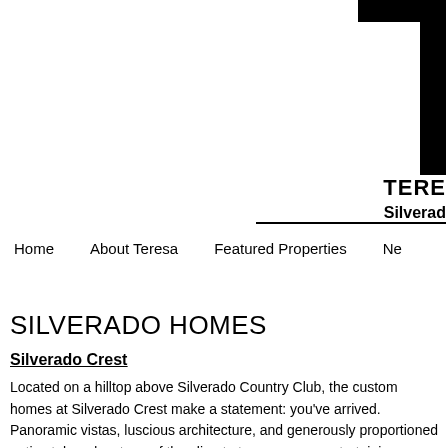[Figure (logo): Large bold T-shaped logo mark in top right corner, black geometric letterform]
TERE
Silverad
Home   About Teresa   Featured Properties   Ne
SILVERADO HOMES
Silverado Crest
Located on a hilltop above Silverado Country Club, the custom homes at Silverado Crest make a statement: you've arrived. Panoramic vistas, lush landscaping, gracious architecture, and generously proportioned patios take advantage of the year-round climate to encourage entertaining or serene relaxation.
Silverado Highland